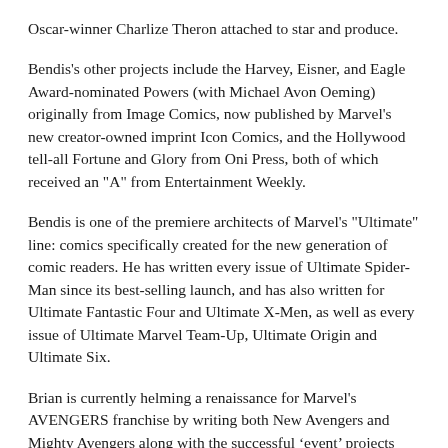Oscar-winner Charlize Theron attached to star and produce.
Bendis's other projects include the Harvey, Eisner, and Eagle Award-nominated Powers (with Michael Avon Oeming) originally from Image Comics, now published by Marvel's new creator-owned imprint Icon Comics, and the Hollywood tell-all Fortune and Glory from Oni Press, both of which received an "A" from Entertainment Weekly.
Bendis is one of the premiere architects of Marvel's "Ultimate" line: comics specifically created for the new generation of comic readers. He has written every issue of Ultimate Spider-Man since its best-selling launch, and has also written for Ultimate Fantastic Four and Ultimate X-Men, as well as every issue of Ultimate Marvel Team-Up, Ultimate Origin and Ultimate Six.
Brian is currently helming a renaissance for Marvel's AVENGERS franchise by writing both New Avengers and Mighty Avengers along with the successful ‘event’ projects House Of M, Secret War, and this summer’s Secret Invasion.
He has also previously done work on Daredevil, Alias, and The